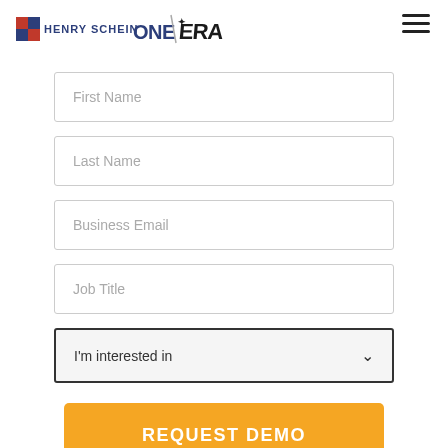[Figure (logo): Henry Schein ONE logo and ERA logo side by side in header]
First Name
Last Name
Business Email
Job Title
I'm interested in
REQUEST DEMO